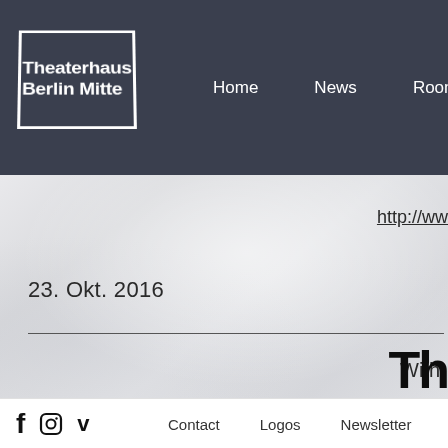Theaterhaus Berlin Mitte — Home   News   Rooms
http://ww
23. Okt. 2016
With
[Figure (logo): Partial Theaterhaus Berlin Mitte logo in black, showing 'Th' characters]
f  Instagram  v   Contact   Logos   Newsletter